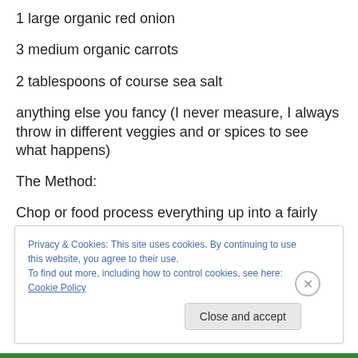1 large organic red onion
3 medium organic carrots
2 tablespoons of course sea salt
anything else you fancy (I never measure, I always throw in different veggies and or spices to see what happens)
The Method:
Chop or food process everything up into a fairly fine slaw (not that important chunks are fine).  Mix in the sea salt
Privacy & Cookies: This site uses cookies. By continuing to use this website, you agree to their use.
To find out more, including how to control cookies, see here: Cookie Policy
Close and accept